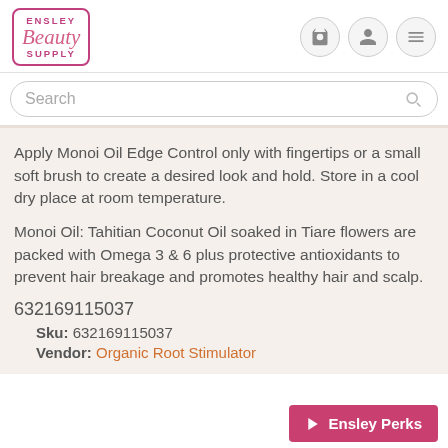[Figure (logo): Ensley Beauty Supply logo in pink with rectangular border]
Search
Apply Monoi Oil Edge Control only with fingertips or a small soft brush to create a desired look and hold. Store in a cool dry place at room temperature.
Monoi Oil: Tahitian Coconut Oil soaked in Tiare flowers are packed with Omega 3 & 6 plus protective antioxidants to prevent hair breakage and promotes healthy hair and scalp.
632169115037
Sku: 632169115037
Vendor: Organic Root Stimulator
Ensley Perks